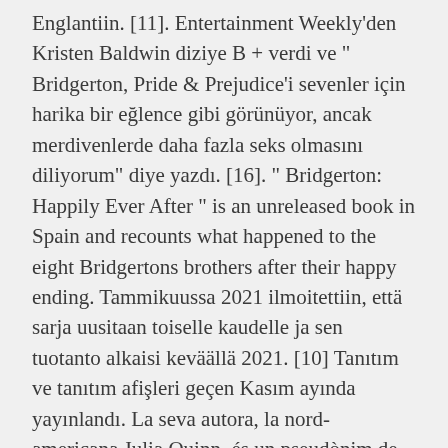Englantiin. [11]. Entertainment Weekly'den Kristen Baldwin diziye B + verdi ve " Bridgerton, Pride & Prejudice'i sevenler için harika bir eğlence gibi görünüyor, ancak merdivenlerde daha fazla seks olmasını diliyorum" diye yazdı. [16]. " Bridgerton: Happily Ever After " is an unreleased book in Spain and recounts what happened to the eight Bridgertons brothers after their happy ending. Tammikuussa 2021 ilmoitettiin, että sarja uusitaan toiselle kaudelle ja sen tuotanto alkaisi keväällä 2021. [10] Tanıtım ve tanıtım afişleri geçen Kasım ayında yayınlandı. La seva autora, la nord-americana Julia Quinn, és un pseudònim de Julie Cutler i és graduada en Història de l'Art per Harvard. Bridgertonovi je americký televizní historický a